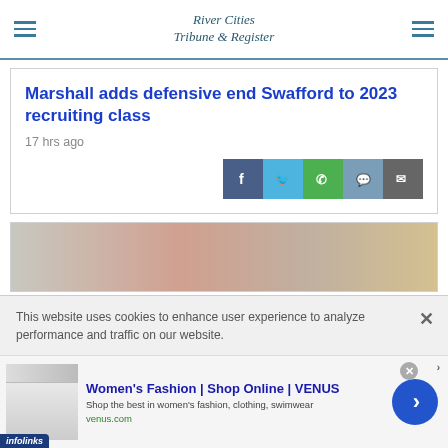River Cities Tribune & Register
Marshall adds defensive end Swafford to 2023 recruiting class
17 hrs ago
[Figure (screenshot): Social share buttons: Facebook, Twitter, WhatsApp, Chat, Email]
[Figure (photo): Partially visible photo at top of article]
This website uses cookies to enhance user experience to analyze performance and traffic on our website.
[Figure (infographic): Ad for Women's Fashion | Shop Online | VENUS from venus.com with infolinks badge]